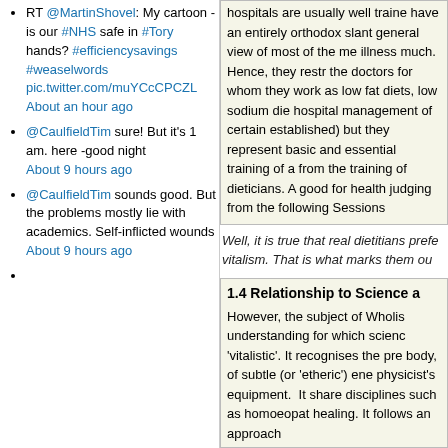RT @MartinShovel: My cartoon - is our #NHS safe in #Tory hands? #efficiencysavings #weaselwords pic.twitter.com/muYCcCPCZL About an hour ago
@CaulfieldTim sure! But it's 1 am. here -good night About 9 hours ago
@CaulfieldTim sounds good. But the problems mostly lie with academics. Self-inflicted wounds About 9 hours ago
hospitals are usually well traine have an entirely orthodox slant general view of most of the me illness much. Hence, they restr the doctors for whom they work as low fat diets, low sodium die hospital management of certain established) but they represent basic and essential training of a from the training of dieticians. A good for health judging from the following Sessions
Well, it is true that real dietitians prefe vitalism. That is what marks them ou
1.4 Relationship to Science a
However, the subject of Wholis understanding for which scienc 'vitalistic'. It recognises the pre body, of subtle (or 'etheric') ene physicist's equipment.  It share disciplines such as homoeopat healing. It follows an approach